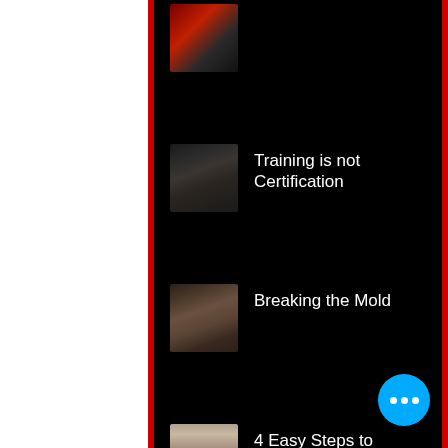[Figure (screenshot): Mobile app screenshot showing a dark-themed list of blog/article items with thumbnails. Items include: a partially visible item at top, 'Training is not Certification', 'Breaking the Mold', and '4 Easy Steps to Keeping Your Look Fresh'. A blue FAB button with three dots appears at the bottom right.]
Training is not Certification
Breaking the Mold
4 Easy Steps to Keeping Your Look Fresh